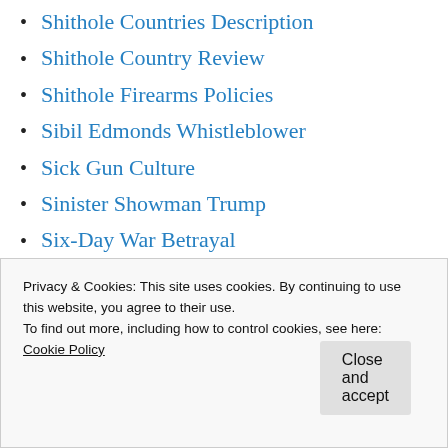Shithole Countries Description
Shithole Country Review
Shithole Firearms Policies
Sibil Edmonds Whistleblower
Sick Gun Culture
Sinister Showman Trump
Six-Day War Betrayal
Slavery Based Economy
Slavery Has Mutated
Snake Oil Salesmen
Snowden Assange Reveal
Privacy & Cookies: This site uses cookies. By continuing to use this website, you agree to their use.
To find out more, including how to control cookies, see here:
Cookie Policy
Close and accept